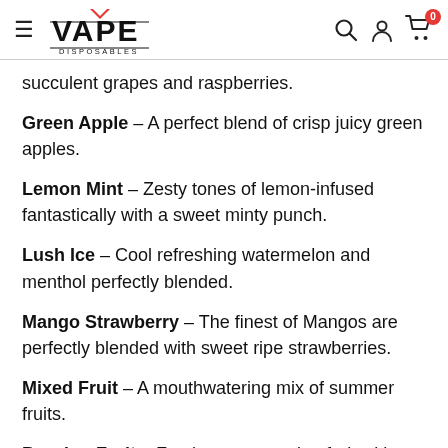VAPE DISPOSABLES
succulent grapes and raspberries.
Green Apple - A perfect blend of crisp juicy green apples.
Lemon Mint - Zesty tones of lemon-infused fantastically with a sweet minty punch.
Lush Ice - Cool refreshing watermelon and menthol perfectly blended.
Mango Strawberry - The finest of Mangos are perfectly blended with sweet ripe strawberries.
Mixed Fruit - A mouthwatering mix of summer fruits.
Passion Fruit - Fresh sweet passion fruit with an